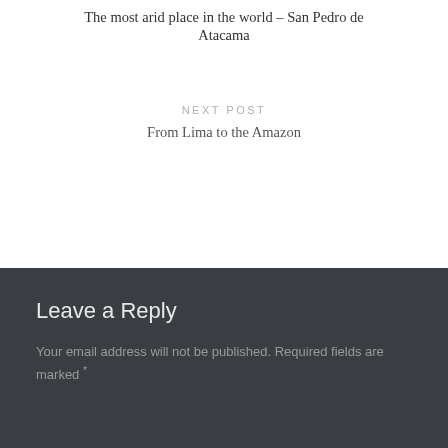The most arid place in the world – San Pedro de Atacama
NEXT POST
From Lima to the Amazon
Leave a Reply
Your email address will not be published. Required fields are marked *